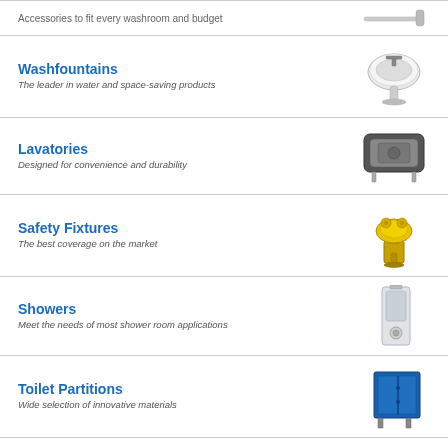Accessories to fit every washroom and budget
Washfountains
The leader in water and space-saving products
Lavatories
Designed for convenience and durability
Safety Fixtures
The best coverage on the market
Showers
Meet the needs of most shower room applications
Toilet Partitions
Wide selection of innovative materials
Thermostatic Mixing Valves
Compliant with lead-free plumbing laws